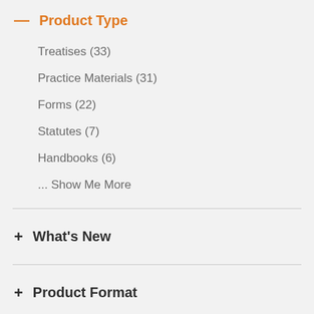— Product Type
Treatises (33)
Practice Materials (31)
Forms (22)
Statutes (7)
Handbooks (6)
... Show Me More
+ What's New
+ Product Format